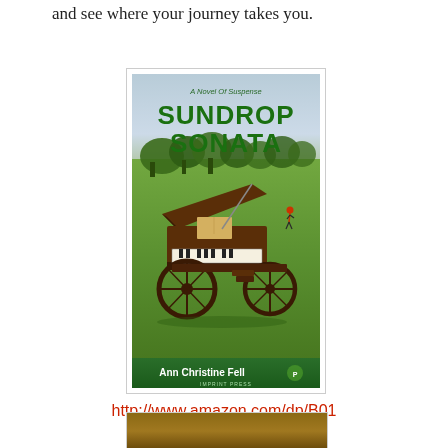and see where your journey takes you.
[Figure (photo): Book cover for 'Sundrop Sonata: A Novel of Suspense' by Ann Christine Fell. Shows a grand piano on a wagon in a green field with trees in the background and a figure running. Green banner at bottom with publisher name.]
http://www.amazon.com/dp/B01AZUMTZS
[Figure (photo): Partial view of another book cover with brown/tan background, cropped at bottom of page.]